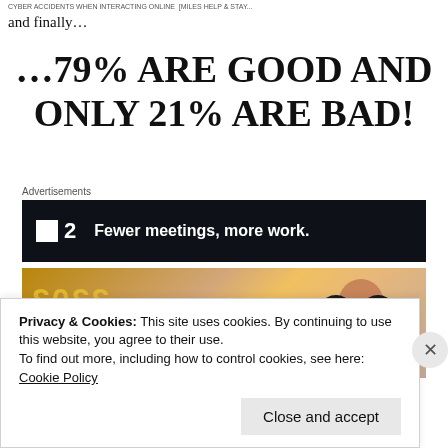CYBER ACCIDENTS WHEN INTERACTING ONLINE [MILES HELP & STAY...
and finally…
…79% ARE GOOD AND ONLY 21% ARE BAD!
Advertisements
[Figure (other): Advertisement banner with dark background showing logo with square icon and '2' and text 'Fewer meetings, more work.']
[Figure (photo): Partial image showing reversed text 'CODE' or similar in yellow on left, and a person with headphones on the right, with a building in the background.]
Privacy & Cookies: This site uses cookies. By continuing to use this website, you agree to their use.
To find out more, including how to control cookies, see here: Cookie Policy
Close and accept